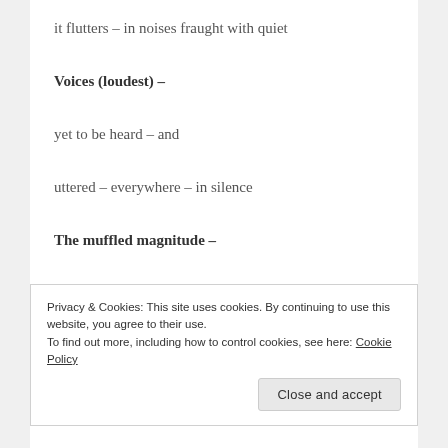it flutters – in noises fraught with quiet
Voices (loudest) –
yet to be heard – and
uttered – everywhere – in silence
The muffled magnitude –
their cause is staunch –
Privacy & Cookies: This site uses cookies. By continuing to use this website, you agree to their use.
To find out more, including how to control cookies, see here: Cookie Policy
Close and accept